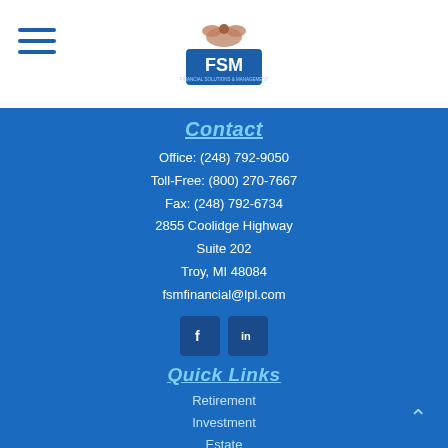[Figure (logo): FSM Financial Solutions & Management logo with eagle graphic above blue FSM text]
Contact
Office: (248) 792-9050
Toll-Free: (800) 270-7667
Fax: (248) 792-6734
2855 Coolidge Highway
Suite 202
Troy, MI 48084
fsmfinancial@lpl.com
[Figure (infographic): Facebook and LinkedIn social media icon buttons (dark blue rounded squares)]
Quick Links
Retirement
Investment
Estate
Insurance
Tax
Money
Lifestyle